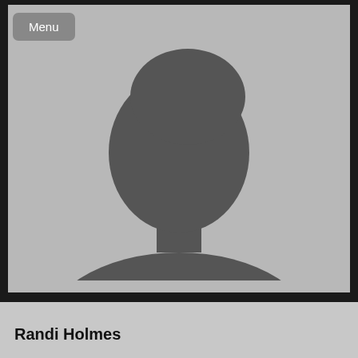[Figure (photo): Generic placeholder profile silhouette of a person (head and shoulders) on a light grey background]
Randi Holmes